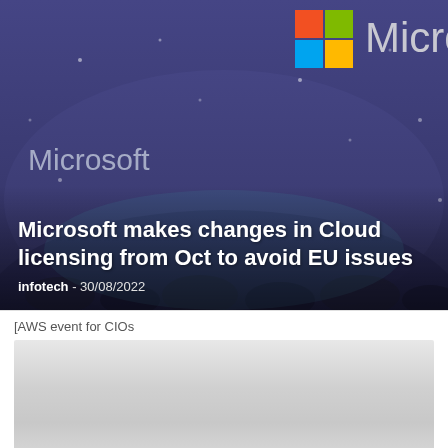[Figure (photo): Microsoft event hall with blue/purple lighting, crowd of attendees, Microsoft logo and colourful Windows logo squares visible on signage at top]
Microsoft makes changes in Cloud licensing from Oct to avoid EU issues
infotech - 30/08/2022
[AWS event for CIOs
[Figure (photo): A second image placeholder area, appearing as a light grey gradient rectangle]